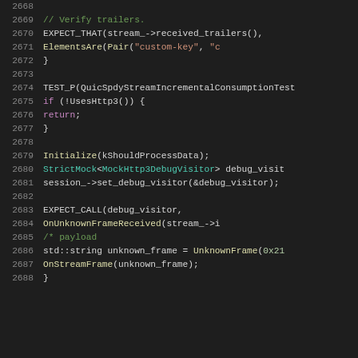[Figure (screenshot): Source code listing showing C++ test code, lines 2668-2688, on a dark background IDE theme. Code includes comments, function calls, and test macros.]